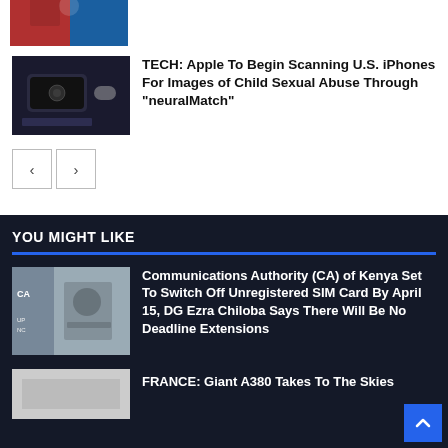[Figure (photo): Soccer players in red and blue jerseys on a pitch (partially visible, top of page)]
TECH: Apple To Begin Scanning U.S. iPhones For Images of Child Sexual Abuse Through “neuralMatch”
[Figure (photo): Black iPhone on a dark surface with a white circular device nearby]
< navigation button
> navigation button
YOU MIGHT LIKE
[Figure (photo): Two men in suits, one holding a microphone, with a CA banner in background]
Communications Authority (CA) of Kenya Set To Switch Off Unregistered SIM Card By April 15, DG Ezra Chiloba Says There Will Be No Deadline Extensions
[Figure (photo): Partial view of a photo related to the France A380 article]
FRANCE: Giant A380 Takes To The Skies